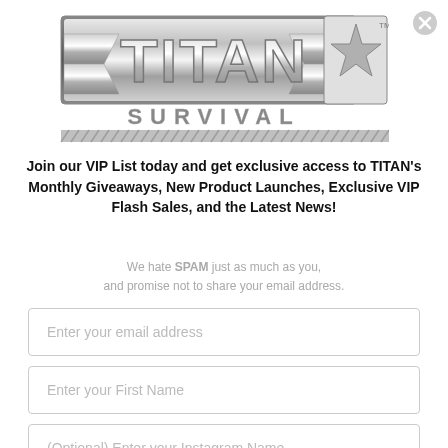[Figure (logo): Titan Survival metallic logo with bold TITAN text, star, and SURVIVAL lettering below with striped bar]
Join our VIP List today and get exclusive access to TITAN's Monthly Giveaways, New Product Launches, Exclusive VIP Flash Sales, and the Latest News!
We hate SPAM just as much as you, and promise not to share your email address.
Enter your email address
Enter your First Name
(Optional) Enter your Instagram Name